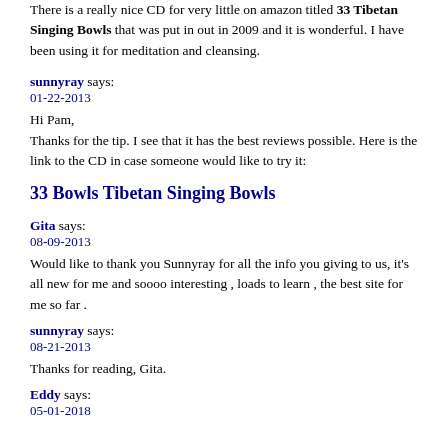There is a really nice CD for very little on amazon titled 33 Tibetan Singing Bowls that was put in out in 2009 and it is wonderful. I have been using it for meditation and cleansing.
sunnyray says:
01-22-2013
Hi Pam,
Thanks for the tip. I see that it has the best reviews possible. Here is the link to the CD in case someone would like to try it:
33 Bowls Tibetan Singing Bowls
Gita says:
08-09-2013
Would like to thank you Sunnyray for all the info you giving to us, it's all new for me and soooo interesting , loads to learn , the best site for me so far .
sunnyray says:
08-21-2013
Thanks for reading, Gita.
Eddy says:
05-01-2018